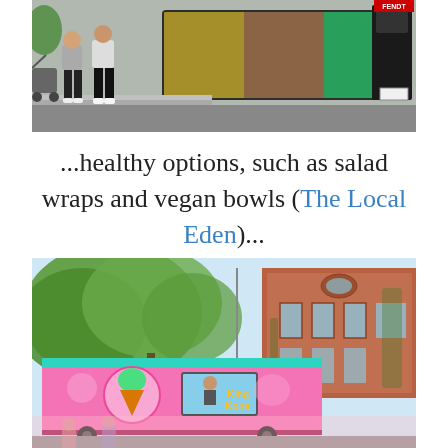[Figure (photo): A colorfully painted food truck parked on a city street, with a person and stroller visible on the sidewalk to the left.]
...healthy options, such as salad wraps and vegan bowls (The Local Eden)...
[Figure (photo): A bright pink and teal food truck labeled 'King Kone' parked in front of a red brick historic building, with trees in the background.]